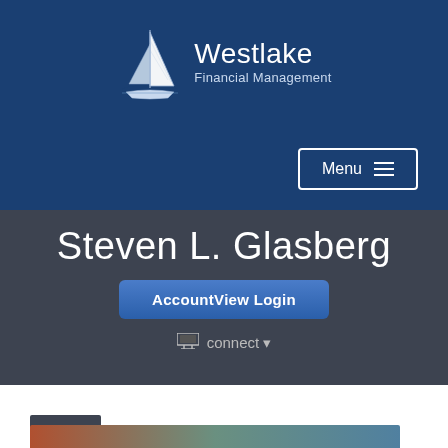[Figure (logo): Westlake Financial Management logo with sailboat icon and text]
Menu ≡
Steven L. Glasberg
AccountView Login
connect ▾
Print
[Figure (photo): Partial photo visible at bottom of page]